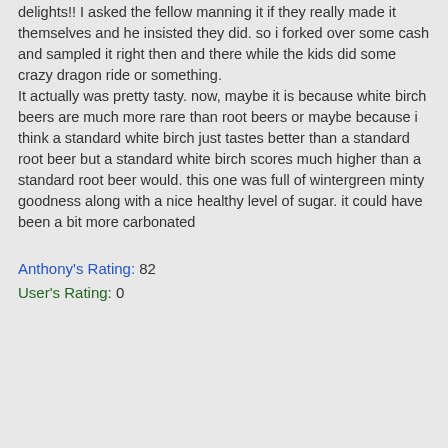delights!! I asked the fellow manning it if they really made it themselves and he insisted they did. so i forked over some cash and sampled it right then and there while the kids did some crazy dragon ride or something.
It actually was pretty tasty. now, maybe it is because white birch beers are much more rare than root beers or maybe because i think a standard white birch just tastes better than a standard root beer but a standard white birch scores much higher than a standard root beer would. this one was full of wintergreen minty goodness along with a nice healthy level of sugar. it could have been a bit more carbonated
Anthony's Rating: 82
User's Rating: 0